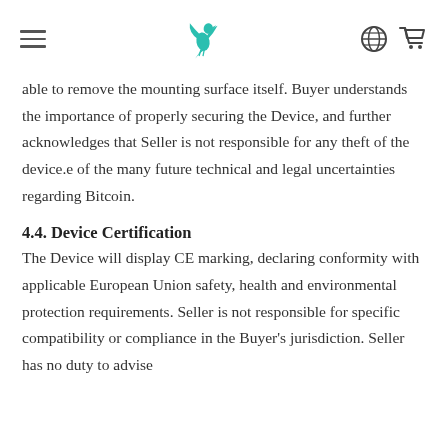[hamburger menu] [logo] [globe icon] [cart icon]
able to remove the mounting surface itself. Buyer understands the importance of properly securing the Device, and further acknowledges that Seller is not responsible for any theft of the device.e of the many future technical and legal uncertainties regarding Bitcoin.
4.4. Device Certification
The Device will display CE marking, declaring conformity with applicable European Union safety, health and environmental protection requirements. Seller is not responsible for specific compatibility or compliance in the Buyer's jurisdiction. Seller has no duty to advise